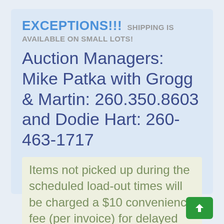EXCEPTIONS!!! SHIPPING IS AVAILABLE ON SMALL LOTS!
Auction Managers: Mike Patka with Grogg & Martin: 260.350.8603 and Dodie Hart: 260-463-1717
Items not picked up during the scheduled load-out times will be charged a $10 convenience fee (per invoice) for delayed pickup.